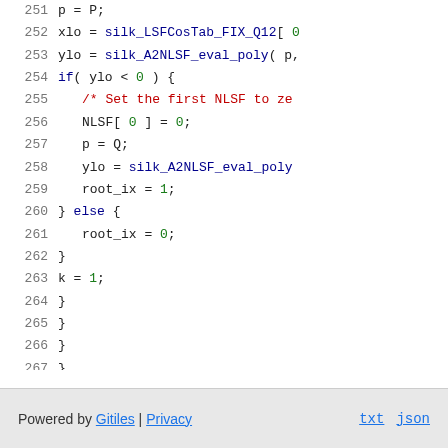[Figure (screenshot): Source code viewer showing lines 251-267 of C code with syntax highlighting. Line numbers in gray on left, keywords in dark blue, comments in red, numeric literals in green, identifiers in dark gray.]
Powered by Gitiles | Privacy    txt  json